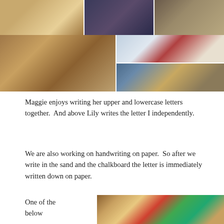[Figure (photo): Collage of 5 classroom photos showing children writing on sand trays and chalkboards, wooden tablets, and a girl in red sitting at a desk with yellow headphones in a Montessori classroom]
Maggie enjoys writing her upper and lowercase letters together.  And above Lily writes the letter I independently.
We are also working on handwriting on paper.  So after we write in the sand and the chalkboard the letter is immediately written down on paper.
One of the below
[Figure (photo): Close-up photo of a child's head from behind looking at colorful objects and a chalkboard tray on a wooden surface]